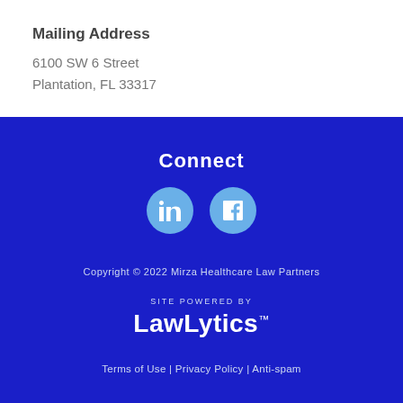Mailing Address
6100 SW 6 Street
Plantation, FL 33317
Connect
[Figure (other): LinkedIn and Facebook social media icon circles in light blue]
Copyright © 2022 Mirza Healthcare Law Partners
[Figure (logo): LawLytics logo with 'SITE POWERED BY' label above]
Terms of Use | Privacy Policy | Anti-spam